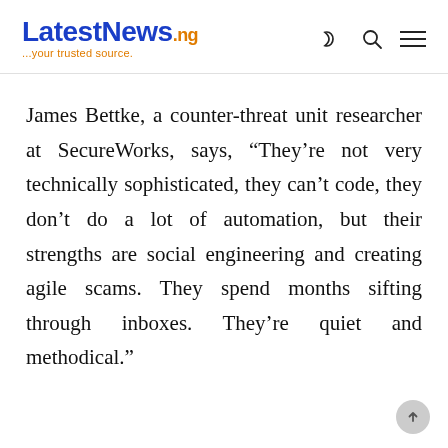LatestNews.ng ...your trusted source.
James Bettke, a counter-threat unit researcher at SecureWorks, says, “They’re not very technically sophisticated, they can’t code, they don’t do a lot of automation, but their strengths are social engineering and creating agile scams. They spend months sifting through inboxes. They’re quiet and methodical.”